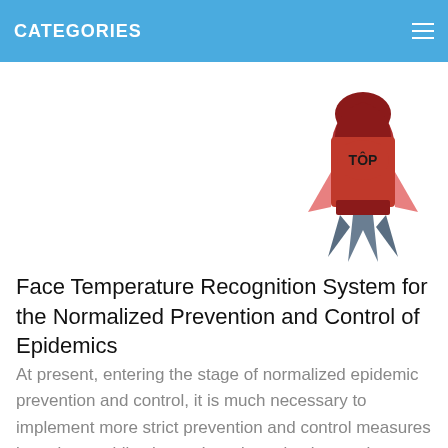CATEGORIES
[Figure (illustration): A cartoon rocket ship illustration in red with 'TÔP' written on its body, with pink fins and dark blue exhaust flames at the bottom.]
Face Temperature Recognition System for the Normalized Prevention and Control of Epidemics
At present, entering the stage of normalized epidemic prevention and control, it is much necessary to implement more strict prevention and control measures in various public places. In order to implement h...